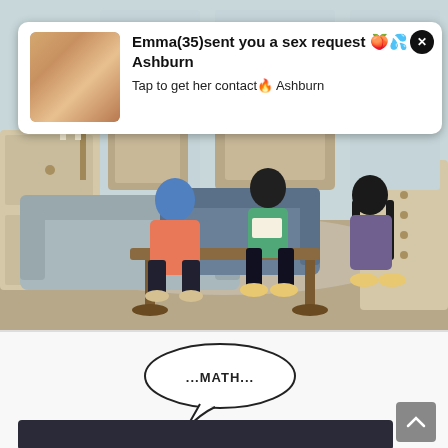[Figure (illustration): Illustrated comic panel showing an interior living room scene with three anime-style characters sitting on sofas around a coffee table. One character has blue hair and wears an orange jacket, another sits in the center reading a paper, and a third with dark hair sits on the right. Decorative room background with cabinets and mirrors.]
[Figure (infographic): Ad overlay popup showing a photo of a woman on the left and text reading: Emma(35)sent you a sex request peach and droplets emoji Ashburn. Tap to get her contact fire emoji Ashburn. Close button (X) in top right.]
[Figure (illustration): Lower comic panel on white background with a speech bubble containing text '...MATH...' and a partial dark-colored image at the bottom.]